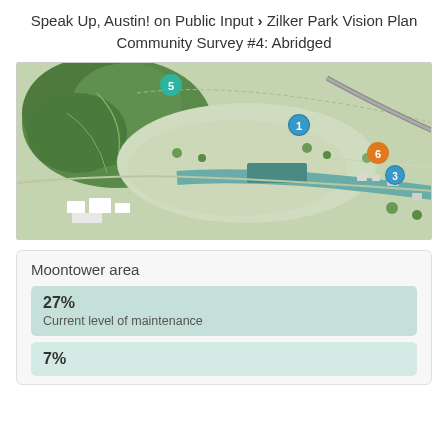Speak Up, Austin! on Public Input › Zilker Park Vision Plan Community Survey #4: Abridged
[Figure (map): Aerial satellite map of Zilker Park area in Austin with numbered location markers: marker 5 (teal) upper left, marker 1 (teal) center right, marker 6 (orange) far right center, marker 3 (teal) far right lower.]
Moontower area
27%
Current level of maintenance
7%